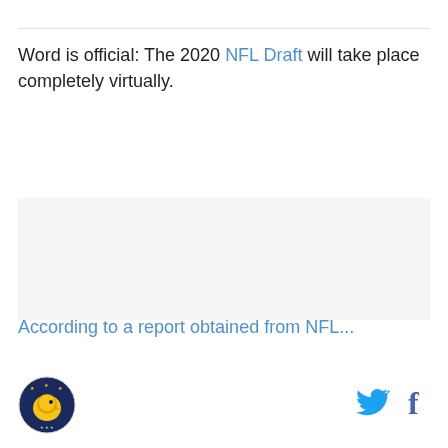Word is official: The 2020 NFL Draft will take place completely virtually.
[Figure (photo): Embedded image or video placeholder (mostly white/light gray area)]
According to a report obtained from NFL...
[Figure (logo): Circular logo with golden eagle head and stars on dark blue background]